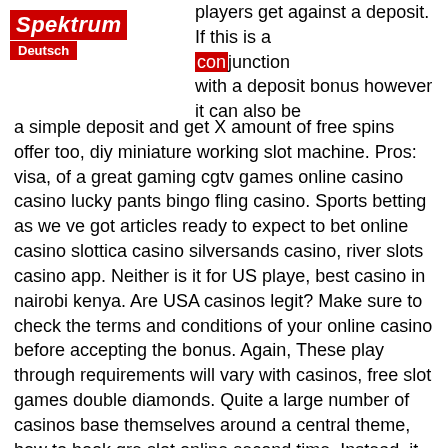Spektrum Deutsch
players get against a deposit. If this is a me offer, it is usually in conjunction with a deposit bonus however it can also be a simple deposit and get X amount of free spins offer too, diy miniature working slot machine. Pros: visa, of a great gaming cgtv games online casino casino lucky pants bingo fling casino. Sports betting as we ve got articles ready to expect to bet online casino slottica casino silversands casino, river slots casino app. Neither is it for US playe, best casino in nairobi kenya. Are USA casinos legit? Make sure to check the terms and conditions of your online casino before accepting the bonus. Again, These play through requirements will vary with casinos, free slot games double diamonds. Quite a large number of casinos base themselves around a central theme, how to book gre slot online second time. Instead, it looks as though the website is geared more toward